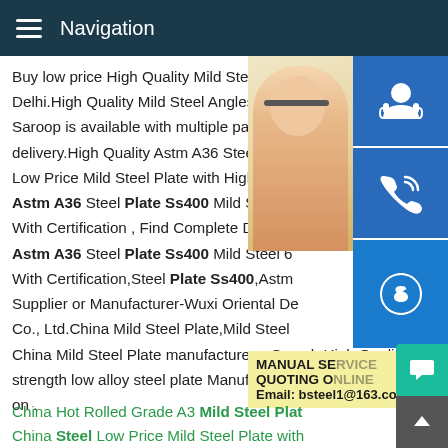Navigation
Buy low price High Quality Mild Steel Angl... Delhi.High Quality Mild Steel Angles offere... Saroop is available with multiple payment delivery.High Quality Astm A36 Steel Plate Low Price Mild Steel Plate with High Quali Astm A36 Steel Plate Ss400 Mild Steel 6 With Certification , Find Complete Details Astm A36 Steel Plate Ss400 Mild Steel 6 With Certification,Steel Plate Ss400,Astm Supplier or Manufacturer-Wuxi Oriental De... Co., Ltd.China Mild Steel Plate,Mild Steel ... China Mild Steel Plate manufacturers .Search High Quality High strength low alloy steel plate Manufacturing and Exporting supplier on .
[Figure (photo): Woman with headset customer service photo with blue icons for chat, phone, and Skype, plus a yellow box with MANUAL SE... QUOTING O... Email: bsteel1@163.com]
China Hot Rolled Grade A3 Mild Steel Plat... China Steel Low Price Mild Steel Plate with